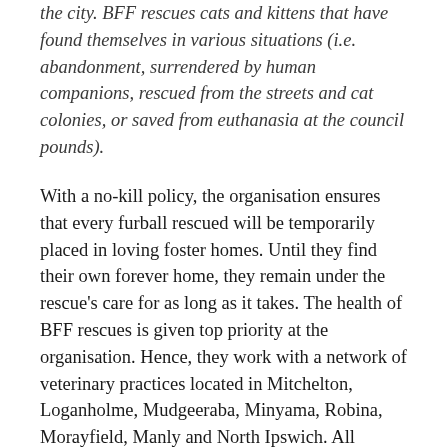the city. BFF rescues cats and kittens that have found themselves in various situations (i.e. abandonment, surrendered by human companions, rescued from the streets and cat colonies, or saved from euthanasia at the council pounds).
With a no-kill policy, the organisation ensures that every furball rescued will be temporarily placed in loving foster homes. Until they find their own forever home, they remain under the rescue’s care for as long as it takes. The health of BFF rescues is given top priority at the organisation. Hence, they work with a network of veterinary practices located in Mitchelton, Loganholme, Mudgeeraba, Minyama, Robina, Morayfield, Manly and North Ipswich. All rescued cats